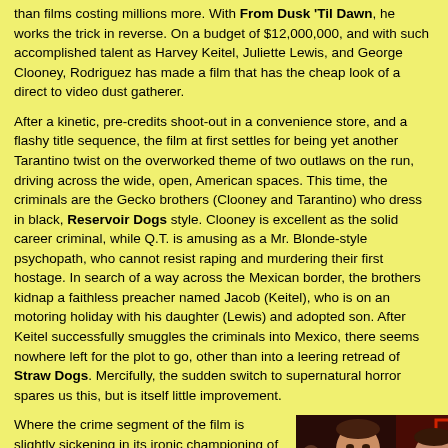than films costing millions more. With From Dusk 'Til Dawn, he works the trick in reverse. On a budget of $12,000,000, and with such accomplished talent as Harvey Keitel, Juliette Lewis, and George Clooney, Rodriguez has made a film that has the cheap look of a direct to video dust gatherer.
After a kinetic, pre-credits shoot-out in a convenience store, and a flashy title sequence, the film at first settles for being yet another Tarantino twist on the overworked theme of two outlaws on the run, driving across the wide, open, American spaces. This time, the criminals are the Gecko brothers (Clooney and Tarantino) who dress in black, Reservoir Dogs style. Clooney is excellent as the solid career criminal, while Q.T. is amusing as a Mr. Blonde-style psychopath, who cannot resist raping and murdering their first hostage. In search of a way across the Mexican border, the brothers kidnap a faithless preacher named Jacob (Keitel), who is on an motoring holiday with his daughter (Lewis) and adopted son. After Keitel successfully smuggles the criminals into Mexico, there seems nowhere left for the plot to go, other than into a leering retread of Straw Dogs. Mercifully, the sudden switch to supernatural horror spares us this, but is itself little improvement.
Where the crime segment of the film is slightly sickening in its ironic championing of the siblings nasty antics, it is directed with conviction and
[Figure (photo): A still from From Dusk 'Til Dawn showing two men in dark suits standing in a dimly lit, reddish-lit interior. One man is facing slightly left, the other facing the camera.]